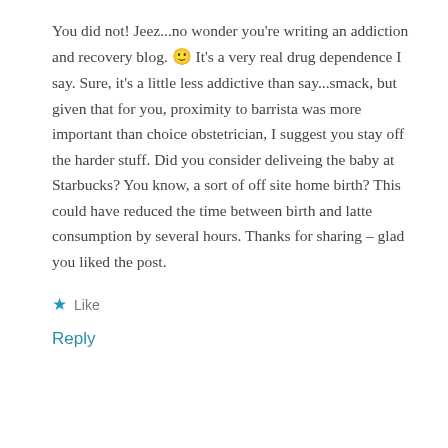You did not! Jeez...no wonder you're writing an addiction and recovery blog. 🙂 It's a very real drug dependence I say. Sure, it's a little less addictive than say...smack, but given that for you, proximity to barrista was more important than choice obstetrician, I suggest you stay off the harder stuff. Did you consider deliveing the baby at Starbucks? You know, a sort of off site home birth? This could have reduced the time between birth and latte consumption by several hours. Thanks for sharing – glad you liked the post.
★ Like
Reply